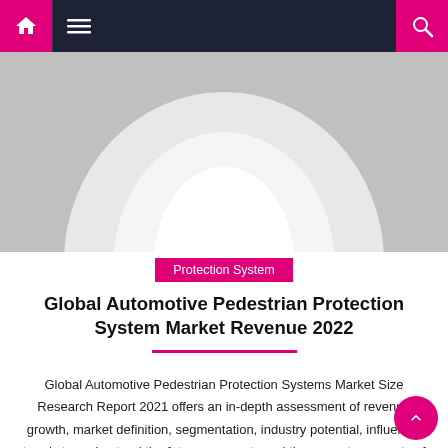Navigation bar with home, menu, and search icons
[Figure (photo): Blurred grayscale hero image showing an arch or circular shape, likely a car or architectural element, with light center and darker gray surroundings]
Protection System
Global Automotive Pedestrian Protection System Market Revenue 2022
Global Automotive Pedestrian Protection Systems Market Size Research Report 2021 offers an in-depth assessment of revenue growth, market definition, segmentation, industry potential, influential trends to understand the future prospects and the current prospects of the market. This